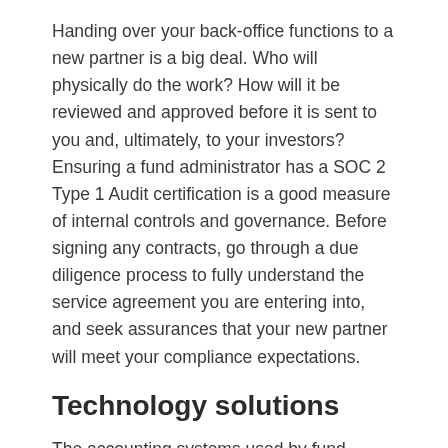Handing over your back-office functions to a new partner is a big deal. Who will physically do the work? How will it be reviewed and approved before it is sent to you and, ultimately, to your investors? Ensuring a fund administrator has a SOC 2 Type 1 Audit certification is a good measure of internal controls and governance. Before signing any contracts, go through a due diligence process to fully understand the service agreement you are entering into, and seek assurances that your new partner will meet your compliance expectations.
Technology solutions
The accounting systems used by fund